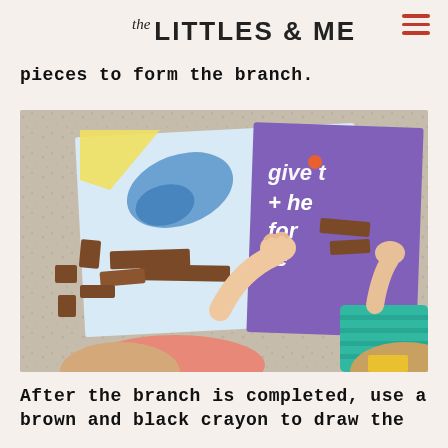the LITTLES & ME
pieces to form the branch.
[Figure (photo): Overhead view of two children at a granite countertop working on an art project involving brown paper pieces and illustrated book pages. One child on the left wears a pink shirt, the other on the right wears a teal striped shirt. A purple poster visible on the right reads 'give the for the'. Brown torn paper pieces are being arranged on illustrated pages.]
After the branch is completed, use a brown and black crayon to draw the